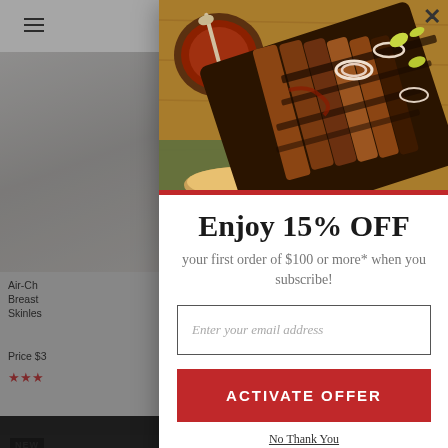[Figure (screenshot): Website background showing e-commerce meat/grocery site with red header bar, hamburger menu, cart icon, product card images on left and right sides, and a dark bottom bar]
[Figure (photo): Close-up overhead photo of sliced BBQ brisket on a wooden cutting board with BBQ sauce, onion rings, and pickled peppers]
Enjoy 15% OFF
your first order of $100 or more* when you subscribe!
Enter your email address
ACTIVATE OFFER
No Thank You